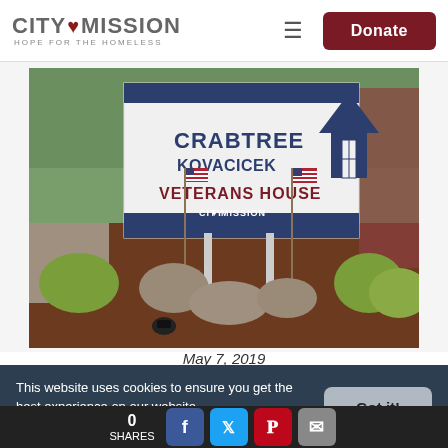CITY MISSION HOPE FOR THE HOMELESS — Donate
[Figure (photo): Outdoor sign reading 'CRABTREE KOVACICEK VETERANS HOUSE CITY MISSION' with two American flags flanking it, surrounded by green shrubs and mulch landscaping.]
May 7, 2019
This website uses cookies to ensure you get the best experience on our website. Learn more
Got it!
0 SHARES — Facebook, Twitter, Pinterest, Email share buttons